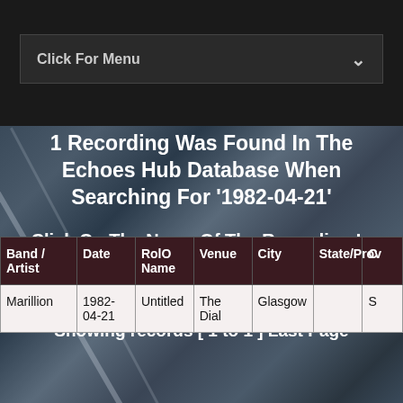Click For Menu
1 Recording Was Found In The Echoes Hub Database When Searching For '1982-04-21'
Click On The Name Of The Recording In The 'RolO Name' Column For More Info, Md5s, And Cover Art.
Showing records [ 1 to 1 ] Last Page
| Band / Artist | Date | RolO Name | Venue | City | State/Prov | C |
| --- | --- | --- | --- | --- | --- | --- |
| Marillion | 1982-04-21 | Untitled | The Dial | Glasgow |  | S |